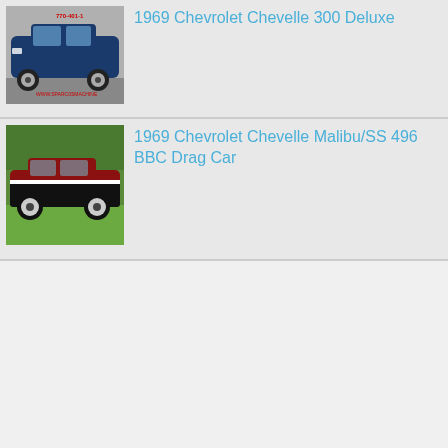[Figure (photo): Blue 1969 Chevrolet Chevelle 300 Deluxe parked in a garage/showroom, front three-quarter view]
1969 Chevrolet Chevelle 300 Deluxe
[Figure (photo): Red and black 1969 Chevrolet Chevelle Malibu/SS parked on grass, side profile view]
1969 Chevrolet Chevelle Malibu/SS 496 BBC Drag Car